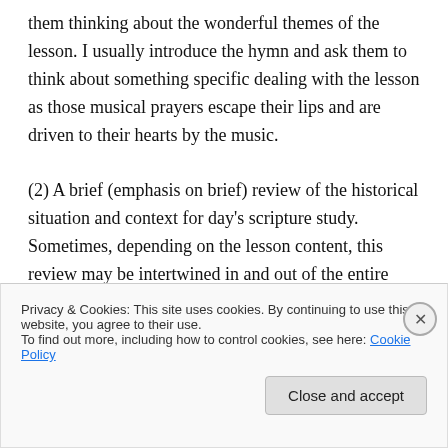them thinking about the wonderful themes of the lesson. I usually introduce the hymn and ask them to think about something specific dealing with the lesson as those musical prayers escape their lips and are driven to their hearts by the music.

(2) A brief (emphasis on brief) review of the historical situation and context for day's scripture study. Sometimes, depending on the lesson content, this review may be intertwined in and out of the entire lesson. For example, as we have read Acts it has been necessary to talk a little
Privacy & Cookies: This site uses cookies. By continuing to use this website, you agree to their use.
To find out more, including how to control cookies, see here: Cookie Policy